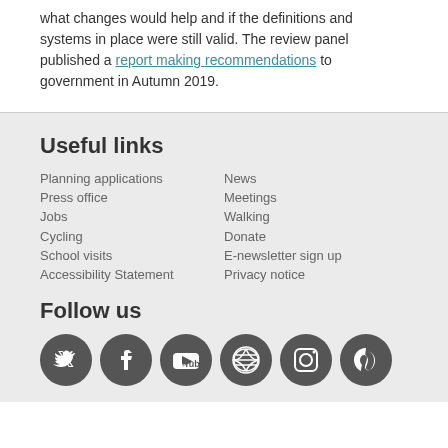what changes would help and if the definitions and systems in place were still valid. The review panel published a report making recommendations to government in Autumn 2019.
Useful links
Planning applications
News
Press office
Meetings
Jobs
Walking
Cycling
Donate
School visits
E-newsletter sign up
Accessibility Statement
Privacy notice
Follow us
[Figure (other): Social media icons: Twitter, Facebook, YouTube, WordPress, Instagram, Pinterest]